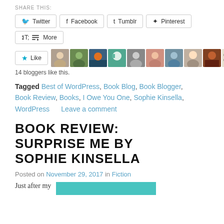SHARE THIS:
Twitter  Facebook  Tumblr  Pinterest  More
[Figure (other): Like button with star icon and 10 blogger avatar thumbnails]
14 bloggers like this.
Tagged Best of WordPress, Book Blog, Book Blogger, Book Review, Books, I Owe You One, Sophie Kinsella, WordPress  Leave a comment
BOOK REVIEW: SURPRISE ME BY SOPHIE KINSELLA
Posted on November 29, 2017 in Fiction
Just after my